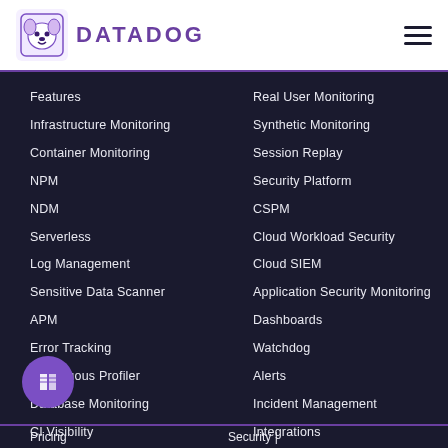DATADOG
Features
Infrastructure Monitoring
Container Monitoring
NPM
NDM
Serverless
Log Management
Sensitive Data Scanner
APM
Error Tracking
Continuous Profiler
Database Monitoring
CI Visibility
Service Catalog
Real User Monitoring
Synthetic Monitoring
Session Replay
Security Platform
CSPM
Cloud Workload Security
Cloud SIEM
Application Security Monitoring
Dashboards
Watchdog
Alerts
Incident Management
Integrations
API